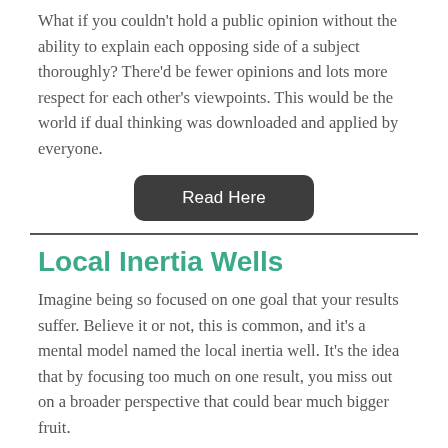What if you couldn't hold a public opinion without the ability to explain each opposing side of a subject thoroughly? There'd be fewer opinions and lots more respect for each other's viewpoints. This would be the world if dual thinking was downloaded and applied by everyone.
Read Here
Local Inertia Wells
Imagine being so focused on one goal that your results suffer. Believe it or not, this is common, and it's a mental model named the local inertia well. It's the idea that by focusing too much on one result, you miss out on a broader perspective that could bear much bigger fruit.
Read Here